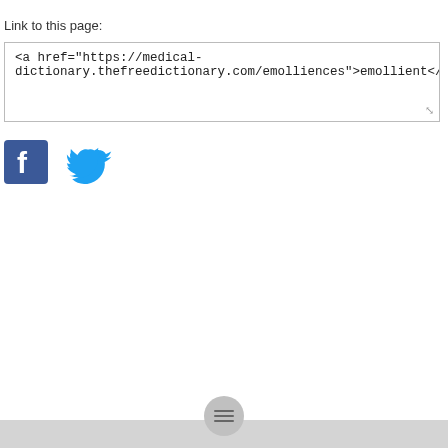Link to this page:
<a href="https://medical-dictionary.thefreedictionary.com/emolliences">emollient</a>
[Figure (logo): Facebook logo button (blue square with white 'f') and Twitter logo button (blue bird icon), social sharing buttons]